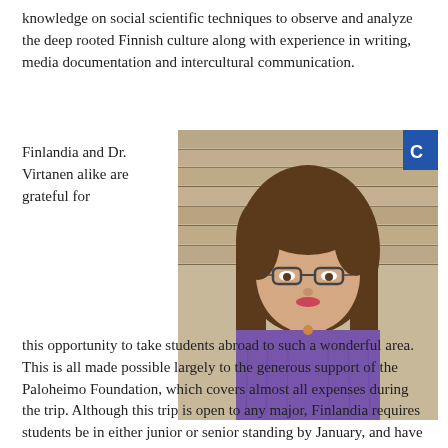knowledge on social scientific techniques to observe and analyze the deep rooted Finnish culture along with experience in writing, media documentation and intercultural communication.
Finlandia and Dr. Virtanen alike are grateful for
[Figure (photo): A young woman with long brown hair and glasses, wearing a purple sweater, seated in front of a wooden plank wall background.]
this opportunity to take students abroad to such a wonderful area. This is all made possible largely to the generous support of the Paloheimo Foundation, which covers almost all expenses during the trip. Although this trip is open to any major, Finlandia requires students be in either junior or senior standing by January, and have an overall GPA of above 3.0. Applications